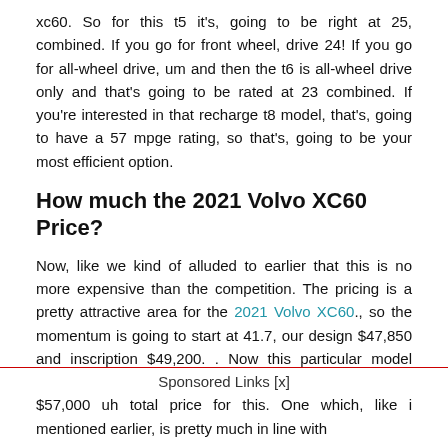xc60. So for this t5 it's, going to be right at 25, combined. If you go for front wheel, drive 24! If you go for all-wheel drive, um and then the t6 is all-wheel drive only and that's going to be rated at 23 combined. If you're interested in that recharge t8 model, that's, going to have a 57 mpge rating, so that's, going to be your most efficient option.
How much the 2021 Volvo XC60 Price?
Now, like we kind of alluded to earlier that this is no more expensive than the competition. The pricing is a pretty attractive area for the 2021 Volvo XC60., so the momentum is going to start at 41.7, our design $47,850 and inscription $49,200. . Now this particular model does have quite a few options on it and we do have a $57,000 uh total price for this. One which, like i mentioned earlier, is pretty much in line with
Sponsored Links [x]